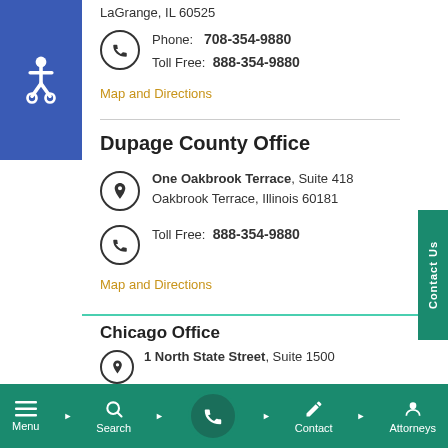LaGrange, IL 60525
Phone: 708-354-9880
Toll Free: 888-354-9880
Map and Directions
Dupage County Office
One Oakbrook Terrace, Suite 418
Oakbrook Terrace, Illinois 60181
Toll Free: 888-354-9880
Map and Directions
Chicago Office
1 North State Street, Suite 1500